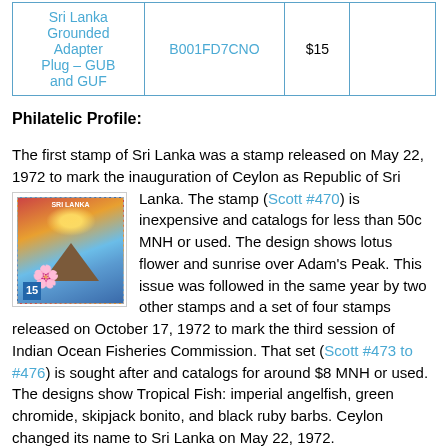|  |  |  |  |
| --- | --- | --- | --- |
| Sri Lanka Grounded Adapter Plug – GUB and GUF | B001FD7CNO | $15 |  |
Philatelic Profile:
[Figure (illustration): Stamp of Sri Lanka showing lotus flower and sunrise over Adam's Peak, value 15]
The first stamp of Sri Lanka was a stamp released on May 22, 1972 to mark the inauguration of Ceylon as Republic of Sri Lanka. The stamp (Scott #470) is inexpensive and catalogs for less than 50c MNH or used. The design shows lotus flower and sunrise over Adam's Peak. This issue was followed in the same year by two other stamps and a set of four stamps released on October 17, 1972 to mark the third session of Indian Ocean Fisheries Commission. That set (Scott #473 to #476) is sought after and catalogs for around $8 MNH or used. The designs show Tropical Fish: imperial angelfish, green chromide, skipjack bonito, and black ruby barbs. Ceylon changed its name to Sri Lanka on May 22, 1972.